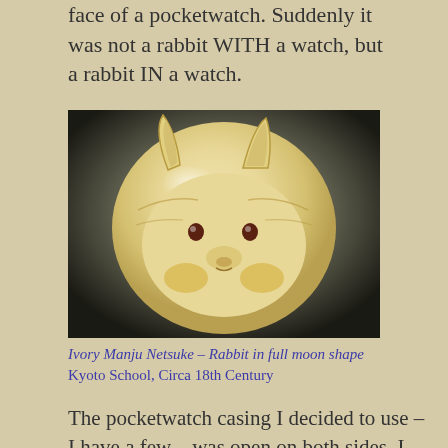face of a pocketwatch. Suddenly it was not a rabbit WITH a watch, but a rabbit IN a watch.
[Figure (photo): Ivory Manju Netsuke carved in the shape of a rabbit's face within a full moon form, showing two ears, small dark eyes, and detailed carving on a cream/ivory background with dark gradient border.]
Ivory Manju Netsuke – Rabbit in full moon shape
Kyoto School, Circa 18th Century
The pocketwatch casing I decided to use – I have a few – was open on both sides. I wanted to be able to fill the space and